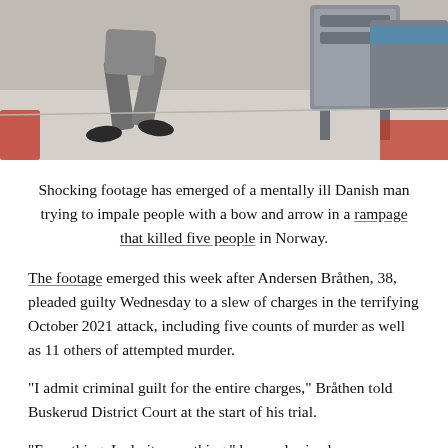[Figure (photo): CCTV or security camera footage still image showing a person (lower body visible, wearing grey trousers and dark shoes) running or moving in what appears to be a store/indoor space, with shopping carts or shelving units visible on the right side.]
Shocking footage has emerged of a mentally ill Danish man trying to impale people with a bow and arrow in a rampage that killed five people in Norway.
The footage emerged this week after Andersen Bråthen, 38, pleaded guilty Wednesday to a slew of charges in the terrifying October 2021 attack, including five counts of murder as well as 11 others of attempted murder.
“I admit criminal guilt for the entire charges,” Bråthen told Buskerud District Court at the start of his trial.
“Everything, I admit everything,” he emphasized,